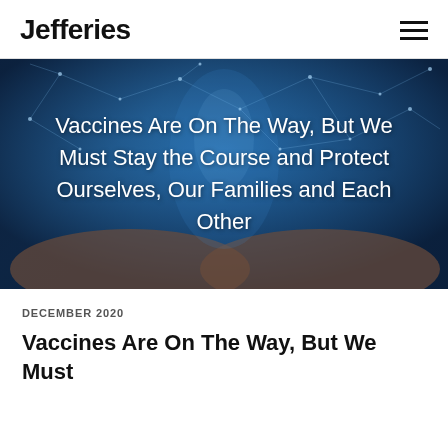Jefferies
[Figure (photo): Hero image of hands cupped together with a glowing digital/AI lightbulb or figure above, network constellation lines in background on dark blue background. White text overlay: 'Vaccines Are On The Way, But We Must Stay the Course and Protect Ourselves, Our Families and Each Other']
DECEMBER 2020
Vaccines Are On The Way, But We Must